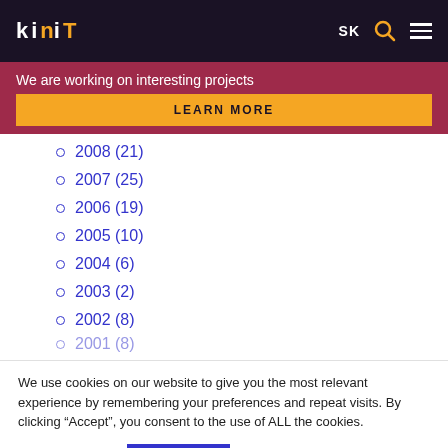KINIT — SK [search] [menu]
We are working on interesting projects
LEARN MORE
2008 (21)
2007 (25)
2006 (19)
2005 (10)
2004 (6)
2003 (2)
2002 (8)
We use cookies on our website to give you the most relevant experience by remembering your preferences and repeat visits. By clicking “Accept”, you consent to the use of ALL the cookies.
Cookie settings   ACCEPT